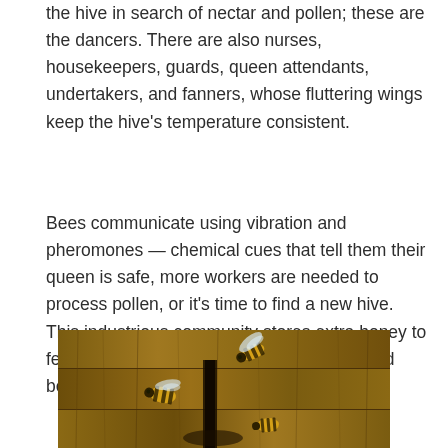the hive in search of nectar and pollen; these are the dancers. There are also nurses, housekeepers, guards, queen attendants, undertakers, and fanners, whose fluttering wings keep the hive's temperature consistent.
Bees communicate using vibration and pheromones — chemical cues that tell them their queen is safe, more workers are needed to process pollen, or it's time to find a new hive. This industrious community stores extra honey to feed its brood over the winter. That's the gold beekeepers harvest.
[Figure (photo): Close-up photograph of honeybees on weathered wooden planks near a hive entrance gap, showing bees with yellow and black markings against aged brown wood grain.]